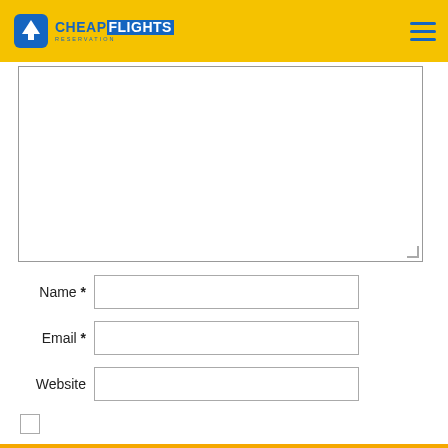[Figure (logo): CheapFlights Reservation logo with airplane icon and hamburger menu icon on yellow header]
[Figure (screenshot): Large empty textarea input box with resizable handle]
Name *
[Figure (screenshot): Name text input field]
Email *
[Figure (screenshot): Email text input field]
Website
[Figure (screenshot): Website text input field]
[Figure (screenshot): Checkbox (unchecked)]
Book Online or Call Our Toll Free
1-800-687-6013
Call Now